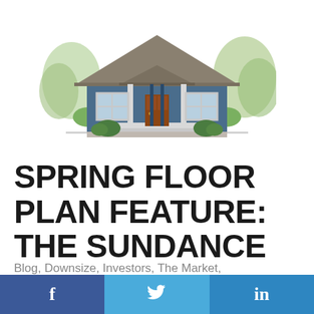[Figure (illustration): Illustrated front elevation of a craftsman-style single-story house with dark blue siding, grey hip roof, red-brown front door, white trim windows, white porch columns, and green trees and shrubs in the background.]
SPRING FLOOR PLAN FEATURE: THE SUNDANCE
Blog, Downsize, Investors, The Market, Uncategorized
[Figure (infographic): Social sharing bar with three buttons: Facebook (f), Twitter (bird), LinkedIn (in)]